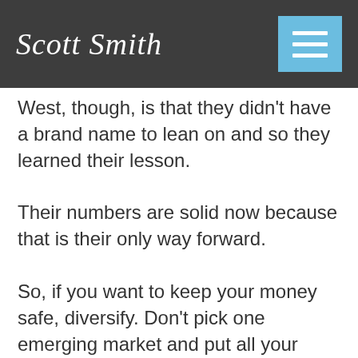Scott Smith
West, though, is that they didn't have a brand name to lean on and so they learned their lesson.
Their numbers are solid now because that is their only way forward.
So, if you want to keep your money safe, diversify. Don't pick one emerging market and put all your money in the bank there. International diversification is the goal. Create a banking portfolio and deposit your money into various banks around the world in jurisdictions with solid fundamentals.